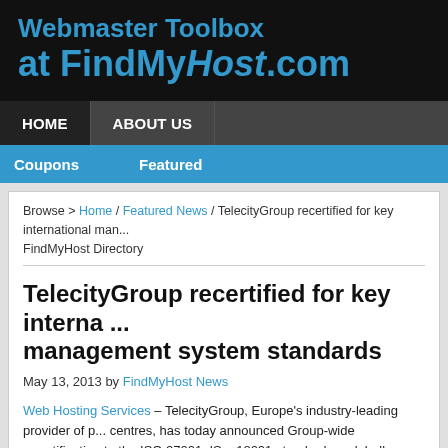Webmaster Toolbox at FindMyHost.com
HOME   ABOUT US   Coupons   Featured
Browse > Home / Featured News / TelecityGroup recertified for key international management system standards FindMyHost Directory
TelecityGroup recertified for key international management system standards
May 13, 2013 by FindMyHost News
Web Hosting Services – TelecityGroup, Europe's industry-leading provider of data centres, has today announced Group-wide recertification to the ISO 27001, ISO 18001 standards – globally recognised certifications for information security, quality and health and safety. The recertifications demonstrate TelecityGroup's commitment